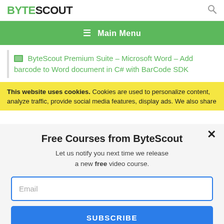BYTESCOUT
≡  Main Menu
ByteScout Premium Suite – Microsoft Word – Add barcode to Word document in C# with BarCode SDK
This website uses cookies. Cookies are used to personalize content, analyze traffic, provide social media features, display ads. We also share
Free Courses from ByteScout
Let us notify you next time we release a new free video course.
Email
SUBSCRIBE